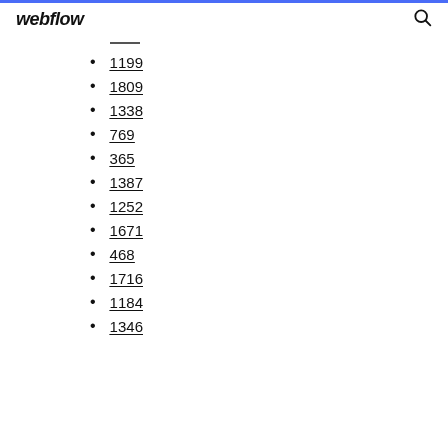webflow
1199
1809
1338
769
365
1387
1252
1671
468
1716
1184
1346